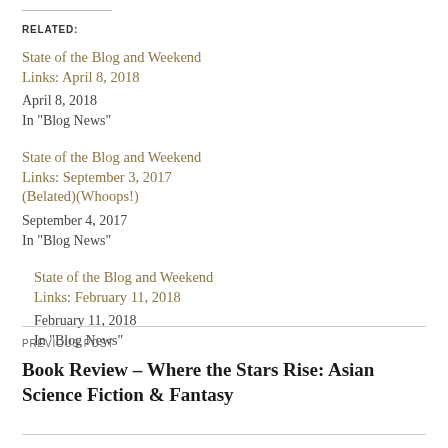RELATED:
State of the Blog and Weekend Links: April 8, 2018
April 8, 2018
In "Blog News"
State of the Blog and Weekend Links: February 11, 2018
February 11, 2018
In "Blog News"
State of the Blog and Weekend Links: September 3, 2017 (Belated)(Whoops!)
September 4, 2017
In "Blog News"
PREVIOUS POST
Book Review – Where the Stars Rise: Asian Science Fiction & Fantasy